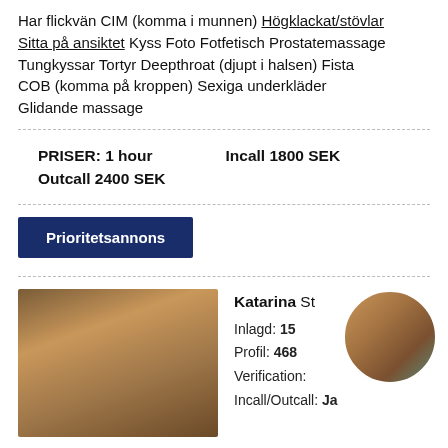Har flickvän CIM (komma i munnen) Högklackat/stövlar Sitta på ansiktet Kyss Foto Fotfetisch Prostatemassage Tungkyssar Tortyr Deepthroat (djupt i halsen) Fista COB (komma på kroppen) Sexiga underkläder Glidande massage
PRISER: 1 hour Incall 1800 SEK Outcall 2400 SEK
Prioritetsannons
Katarina St... Inlagd: 15... Profil: 468... Verification: ... Incall/Outcall: Ja
[Figure (photo): Photo of a woman with long dark hair]
[Figure (photo): Circular avatar photo of a woman in teal outfit]